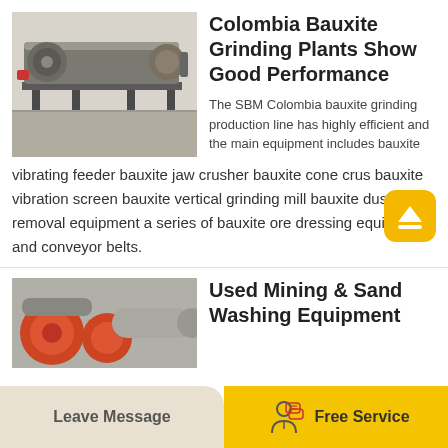[Figure (photo): Industrial magnetic separator machine in a factory setting, grey metal equipment on a concrete floor]
Colombia Bauxite Grinding Plants Show Good Performance
The SBM Colombia bauxite grinding production line has highly efficient and the main equipment includes bauxite vibrating feeder bauxite jaw crusher bauxite cone crus bauxite vibration screen bauxite vertical grinding mill bauxite dust removal equipment a series of bauxite ore dressing equipment and conveyor belts.
[Figure (photo): Orange/red industrial drum or roller mining equipment]
Used Mining & Sand Washing Equipment
Leave Message
Free Service